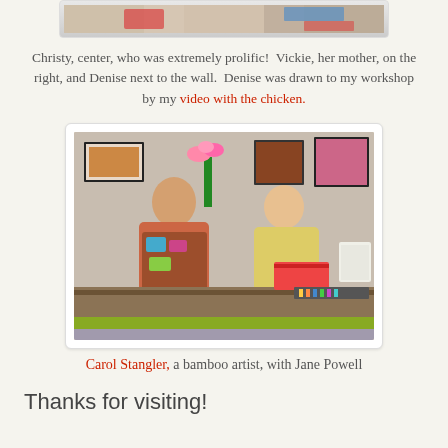[Figure (photo): Partial photo visible at top of page, cropped — showing colorful artwork/workshop scene]
Christy, center, who was extremely prolific!  Vickie, her mother, on the right, and Denise next to the wall.  Denise was drawn to my workshop by my video with the chicken.
[Figure (photo): Carol Stangler, a bamboo artist, standing with Jane Powell at a counter/desk in an art studio with colorful artwork on the walls]
Carol Stangler, a bamboo artist, with Jane Powell
Thanks for visiting!